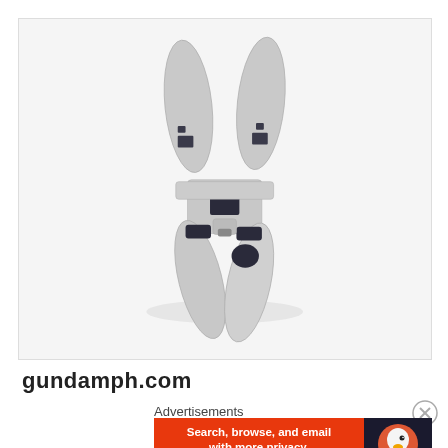[Figure (photo): A gray plastic Gundam model figure/mecha toy with four leg-like appendages arranged in a claw formation, photographed on a white background. The figure appears to be a mobile suit component or weapon from the Gundam franchise.]
gundamph.com
Advertisements
[Figure (screenshot): DuckDuckGo advertisement banner on orange background reading 'Search, browse, and email with more privacy. All in One Free App' with DuckDuckGo duck logo on dark right panel.]